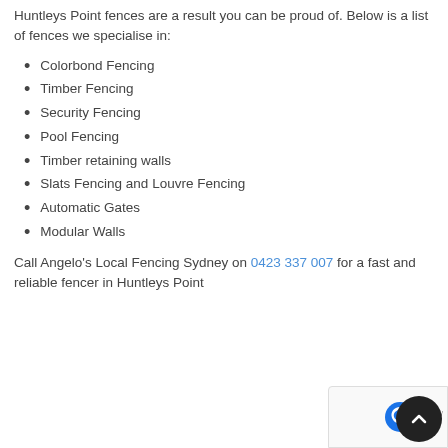Huntleys Point fences are a result you can be proud of. Below is a list of fences we specialise in:
Colorbond Fencing
Timber Fencing
Security Fencing
Pool Fencing
Timber retaining walls
Slats Fencing and Louvre Fencing
Automatic Gates
Modular Walls
Call Angelo's Local Fencing Sydney on 0423 337 007 for a fast and reliable fencer in Huntleys Point